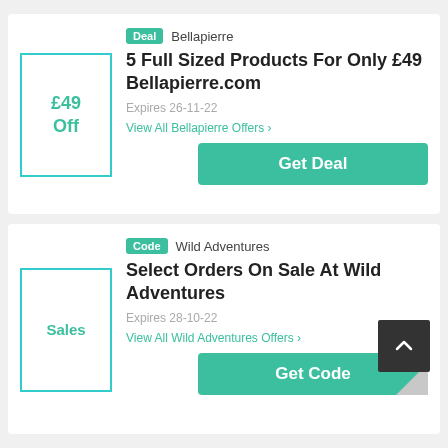[Figure (other): Coupon card for Bellapierre: £49 Off deal. Tag: Deal. Title: 5 Full Sized Products For Only £49 Bellapierre.com. Expires 26-11-22. Link: View All Bellapierre Offers. Button: Get Deal.]
[Figure (other): Coupon card for Wild Adventures: Sales code. Tag: Code. Title: Select Orders On Sale At Wild Adventures. Expires 28-10-22. Link: View All Wild Adventures Offers. Button: Get Code. Scroll-to-top button overlay.]